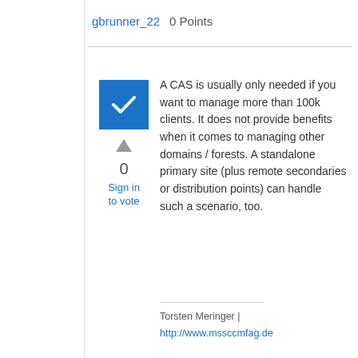gbrunner_22   0 Points
[Figure (other): Blue checkbox with white checkmark]
0
Sign in to vote
A CAS is usually only needed if you want to manage more than 100k clients. It does not provide benefits when it comes to managing other domains / forests. A standalone primary site (plus remote secondaries or distribution points) can handle such a scenario, too.
Torsten Meringer |
http://www.mssccmfag.de